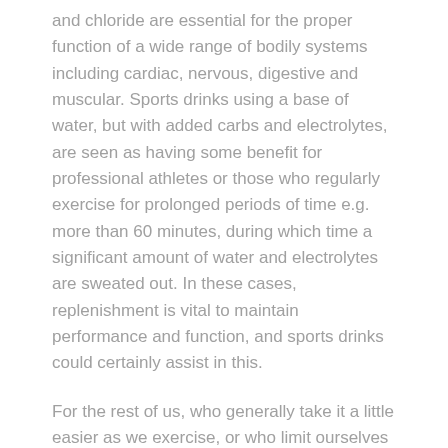and chloride are essential for the proper function of a wide range of bodily systems including cardiac, nervous, digestive and muscular. Sports drinks using a base of water, but with added carbs and electrolytes, are seen as having some benefit for professional athletes or those who regularly exercise for prolonged periods of time e.g. more than 60 minutes, during which time a significant amount of water and electrolytes are sweated out. In these cases, replenishment is vital to maintain performance and function, and sports drinks could certainly assist in this.
For the rest of us, who generally take it a little easier as we exercise, or who limit ourselves to about one hour at a time, water is all we need to stay hydrated. So, if you're going for a gentle stroll in the park, you can forego that brightly coloured sports drink and stick with H20.
Highly active people and athletes still need to keep up their water intake, even if they use sports drinks. You could say that water is what we are. Up to 60% of our body mass is made up of water, and even losing as little